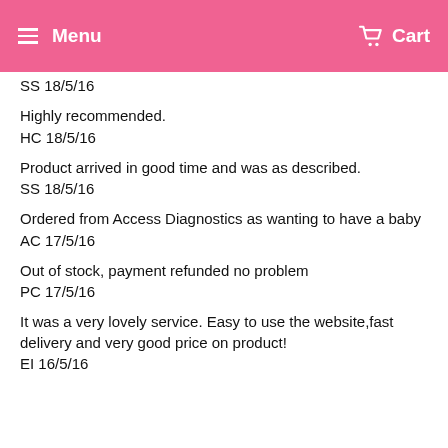Menu  Cart
SS 18/5/16
Highly recommended.
HC 18/5/16
Product arrived in good time and was as described.
SS 18/5/16
Ordered from Access Diagnostics as wanting to have a baby
AC 17/5/16
Out of stock, payment refunded no problem
PC 17/5/16
It was a very lovely service. Easy to use the website,fast delivery and very good price on product!
EI 16/5/16